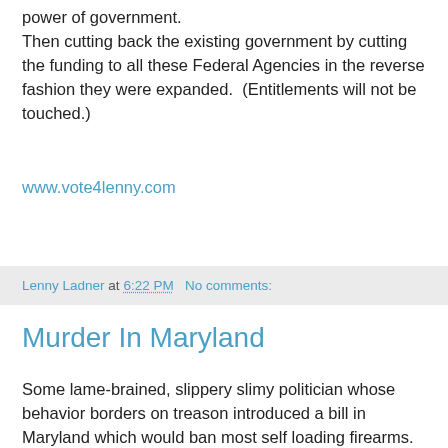power of government.
Then cutting back the existing government by cutting the funding to all these Federal Agencies in the reverse fashion they were expanded.  (Entitlements will not be touched.)
www.vote4lenny.com
Lenny Ladner at 6:22 PM   No comments:
Murder In Maryland
Some lame-brained, slippery slimy politician whose behavior borders on treason introduced a bill in Maryland which would ban most self loading firearms.  The bill passed and some